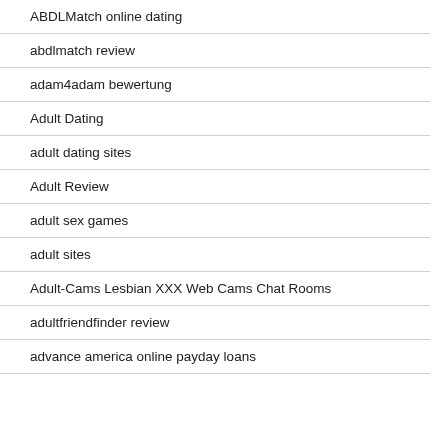ABDLMatch online dating
abdlmatch review
adam4adam bewertung
Adult Dating
adult dating sites
Adult Review
adult sex games
adult sites
Adult-Cams Lesbian XXX Web Cams Chat Rooms
adultfriendfinder review
advance america online payday loans